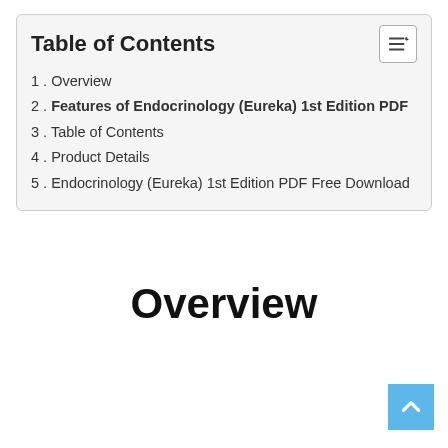Table of Contents
1. Overview
2. Features of Endocrinology (Eureka) 1st Edition PDF
3. Table of Contents
4. Product Details
5. Endocrinology (Eureka) 1st Edition PDF Free Download
Overview